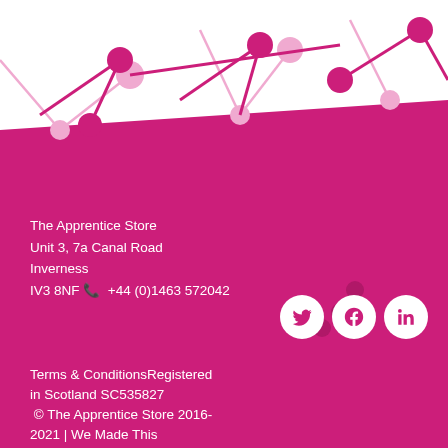[Figure (illustration): Decorative circuit board pattern with pink lines and circles on white background transitioning to solid pink footer area]
The Apprentice Store
Unit 3, 7a Canal Road
Inverness
IV3 8NF ☎ +44 (0)1463 572042
[Figure (illustration): Three white circular social media icons (Twitter, Facebook, LinkedIn) on pink background]
Terms & ConditionsRegistered in Scotland SC535827
© The Apprentice Store 2016-2021 | We Made This